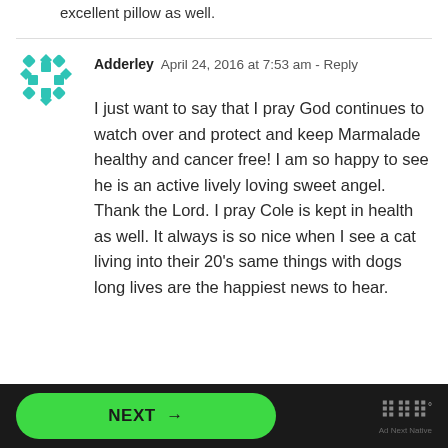excellent pillow as well.
Adderley  April 24, 2016 at 7:53 am - Reply
I just want to say that I pray God continues to watch over and protect and keep Marmalade healthy and cancer free! I am so happy to see he is an active lively loving sweet angel. Thank the Lord. I pray Cole is kept in health as well. It always is so nice when I see a cat living into their 20’s same things with dogs long lives are the happiest news to hear.
NEXT →